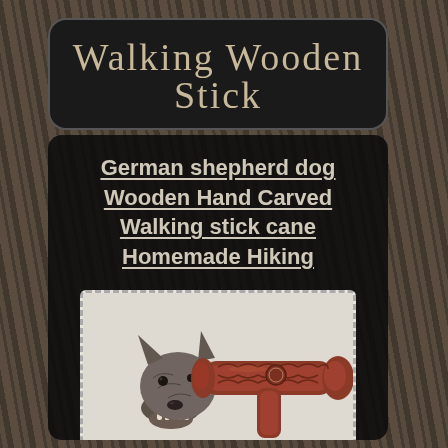Walking Wooden Stick
German shepherd dog Wooden Hand Carved Walking stick cane Homemade Hiking
[Figure (photo): A carved wooden walking stick cane with a German shepherd dog head on top, and a red-brown ergonomic wood handle grip with decorative carving, displayed on a light background.]